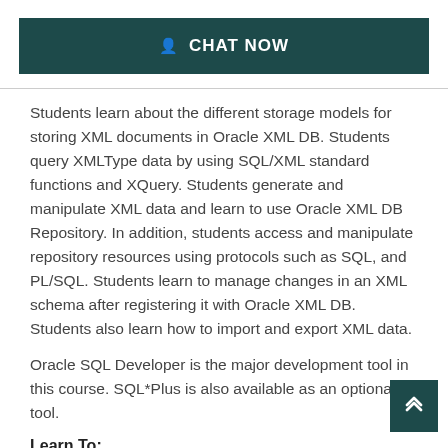[Figure (other): Chat Now button with dark teal background and person icon]
Students learn about the different storage models for storing XML documents in Oracle XML DB. Students query XMLType data by using SQL/XML standard functions and XQuery. Students generate and manipulate XML data and learn to use Oracle XML DB Repository. In addition, students access and manipulate repository resources using protocols such as SQL, and PL/SQL. Students learn to manage changes in an XML schema after registering it with Oracle XML DB. Students also learn how to import and export XML data.
Oracle SQL Developer is the major development tool in this course. SQL*Plus is also available as an optional tool.
Learn To:
Store and retrieve XML Data in Oracle XML DB
Generate XML Data from relational data in the data
Use XQuery to query, generate, and transform XML data
Manipulate XML Data in Oracle XML DB